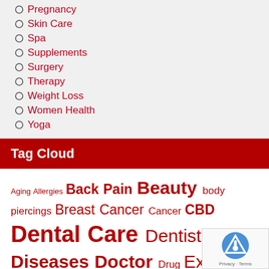Pregnancy
Skin Care
Spa
Supplements
Surgery
Therapy
Weight Loss
Women Health
Yoga
Tag Cloud
Aging Allergies Back Pain Beauty body piercings Breast Cancer Cancer CBD Dental Care Dentist Diet Diseases Doctor Drug Exercise Eyes Care Fitness Fitness Equipments Food Hair Loss Health Health and Fitnes Health and Medical Healthc Heart Attack Injury Massage Medical Equipment